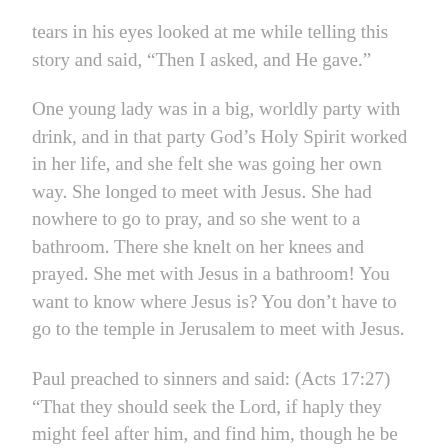tears in his eyes looked at me while telling this story and said, “Then I asked, and He gave.”
One young lady was in a big, worldly party with drink, and in that party God’s Holy Spirit worked in her life, and she felt she was going her own way. She longed to meet with Jesus. She had nowhere to go to pray, and so she went to a bathroom. There she knelt on her knees and prayed. She met with Jesus in a bathroom! You want to know where Jesus is? You don’t have to go to the temple in Jerusalem to meet with Jesus.
Paul preached to sinners and said: (Acts 17:27) “That they should seek the Lord, if haply they might feel after him, and find him, though he be not far from every one of us.
Paul longed for them to feel to seek the Lord to